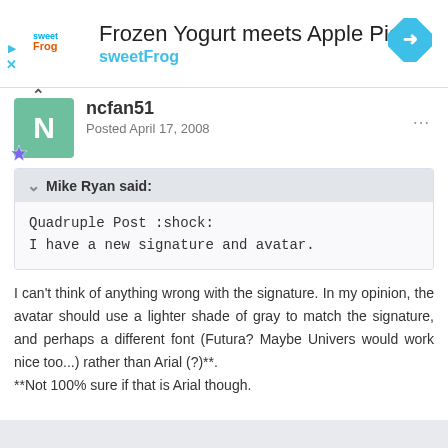[Figure (other): sweetFrog advertisement banner with logo, text 'Frozen Yogurt meets Apple Pie sweetFrog', and navigation icon on the right]
ncfan51
Posted April 17, 2008
Mike Ryan said:
Quadruple Post :shock:
I have a new signature and avatar.
I can't think of anything wrong with the signature. In my opinion, the avatar should use a lighter shade of gray to match the signature, and perhaps a different font (Futura? Maybe Univers would work nice too...) rather than Arial (?)**.
**Not 100% sure if that is Arial though.